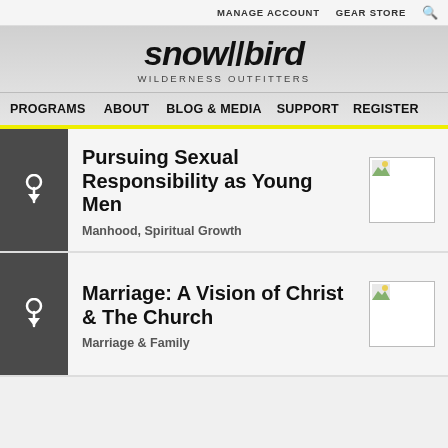MANAGE ACCOUNT   GEAR STORE
[Figure (logo): Snowbird Wilderness Outfitters logo with stylized italic text and 'WILDERNESS OUTFITTERS' subtitle]
PROGRAMS   ABOUT   BLOG & MEDIA   SUPPORT   REGISTER
Pursuing Sexual Responsibility as Young Men
Manhood, Spiritual Growth
Marriage: A Vision of Christ & The Church
Marriage & Family